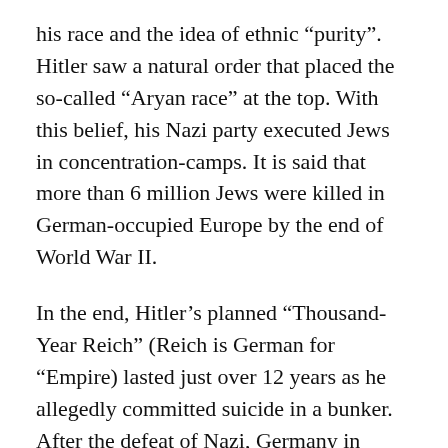his race and the idea of ethnic “purity”. Hitler saw a natural order that placed the so-called “Aryan race” at the top. With this belief, his Nazi party executed Jews in concentration-camps. It is said that more than 6 million Jews were killed in German-occupied Europe by the end of World War II.
In the end, Hitler’s planned “Thousand-Year Reich” (Reich is German for “Empire) lasted just over 12 years as he allegedly committed suicide in a bunker. After the defeat of Nazi, Germany in World War II, Germany was divided between the two global blocs in the East and West, a period known as the division of Germany which ended with bringing down of the Berlin Wall and unification of West & East Germany.